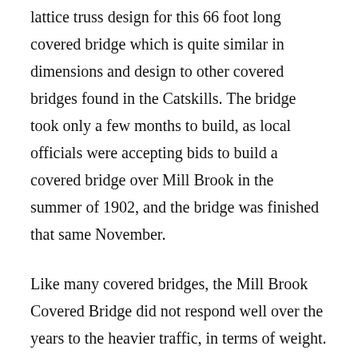lattice truss design for this 66 foot long covered bridge which is quite similar in dimensions and design to other covered bridges found in the Catskills. The bridge took only a few months to build, as local officials were accepting bids to build a covered bridge over Mill Brook in the summer of 1902, and the bridge was finished that same November.
Like many covered bridges, the Mill Brook Covered Bridge did not respond well over the years to the heavier traffic, in terms of weight. In May of 1964, the bridge was evaluated for its load strength and was initially proven to be strong enough to accommodate the load of a school bus. But by September of that year, an adjacent road bridge was built and the covered bridge was then made inaccessible to all but pedestrians. In the coming years, the Town of Hardenburg then appointed to hire someone to the...